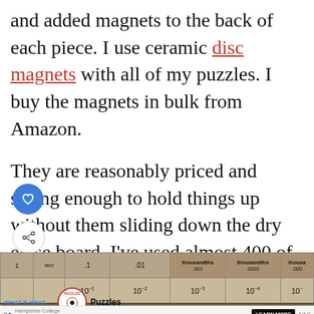and added magnets to the back of each piece. I use ceramic disc magnets with all of my puzzles. I buy the magnets in bulk from Amazon.

They are reasonably priced and strong enough to hold things up without them sliding down the dry erase board. I've used almost 400 of these magnets in the past year or so.
[Figure (photo): Photograph of a decimal place value chart/puzzle showing columns for tenths (0.1, 10^-1), hundredths (0.01, 10^-2), thousandths (0.001, 10^-3), ten-thousandths (0.0001, 10^-4), and further columns, on a tan/brown board.]